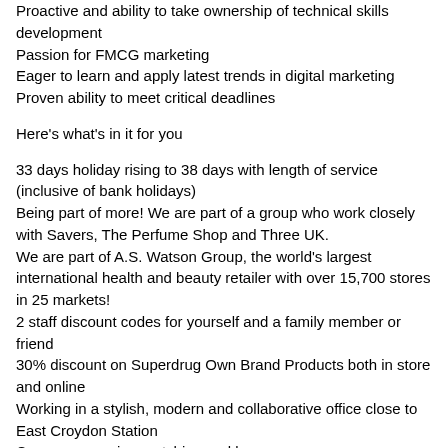Proactive and ability to take ownership of technical skills development
Passion for FMCG marketing
Eager to learn and apply latest trends in digital marketing
Proven ability to meet critical deadlines
Here's what's in it for you
33 days holiday rising to 38 days with length of service (inclusive of bank holidays)
Being part of more! We are part of a group who work closely with Savers, The Perfume Shop and Three UK.
We are part of A.S. Watson Group, the world's largest international health and beauty retailer with over 15,700 stores in 25 markets!
2 staff discount codes for yourself and a family member or friend
30% discount on Superdrug Own Brand Products both in store and online
Working in a stylish, modern and collaborative office close to East Croydon Station
Company pension matching and bonus
Unrivalled Learning and Development programmes
Come and be part of something special.